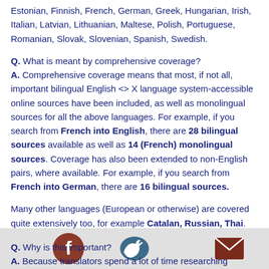Estonian, Finnish, French, German, Greek, Hungarian, Irish, Italian, Latvian, Lithuanian, Maltese, Polish, Portuguese, Romanian, Slovak, Slovenian, Spanish, Swedish.
Q. What is meant by comprehensive coverage?
A. Comprehensive coverage means that most, if not all, important bilingual English <> X language system-accessible online sources have been included, as well as monolingual sources for all the above languages. For example, if you search from French into English, there are 28 bilingual sources available as well as 14 (French) monolingual sources. Coverage has also been extended to non-English pairs, where available. For example, if you search from French into German, there are 16 bilingual sources.
Many other languages (European or otherwise) are covered quite extensively too, for example Catalan, Russian, Thai.
Q. Why is this important?
A. Because translators spend a lot of time researching